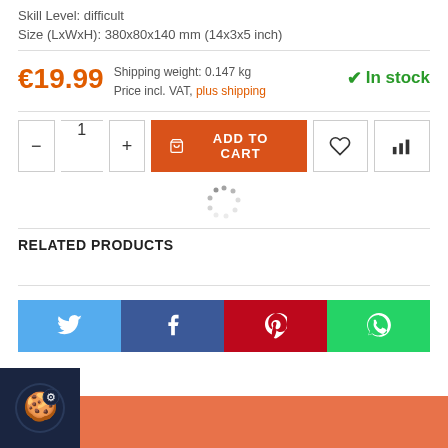Skill Level: difficult
Size (LxWxH): 380x80x140 mm (14x3x5 inch)
€19.99  Shipping weight: 0.147 kg  Price incl. VAT, plus shipping
✔ In stock
[Figure (screenshot): Add to cart controls: quantity minus/plus buttons, quantity field showing 1, orange ADD TO CART button with cart icon, heart wishlist button, bar chart comparison button]
[Figure (illustration): Loading spinner dots in circular arrangement]
RELATED PRODUCTS
[Figure (screenshot): Social share buttons row: Twitter (blue), Facebook (dark blue), Pinterest (dark red), WhatsApp (green)]
[Figure (screenshot): Cookie consent banner with dark blue cookie icon box and orange/salmon bar]